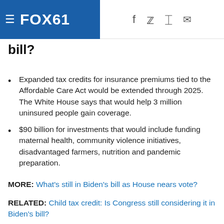FOX61
bill?
Expanded tax credits for insurance premiums tied to the Affordable Care Act would be extended through 2025. The White House says that would help 3 million uninsured people gain coverage.
$90 billion for investments that would include funding maternal health, community violence initiatives, disadvantaged farmers, nutrition and pandemic preparation.
MORE: What's still in Biden's bill as House nears vote?
RELATED: Child tax credit: Is Congress still considering it in Biden's bill?